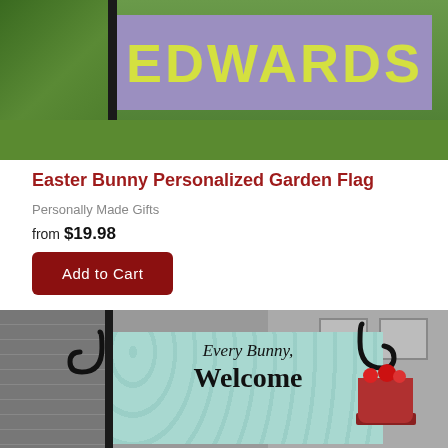[Figure (photo): Product photo of a personalized garden flag with 'EDWARDS' text in yellow on a purple/lavender banner, mounted on a pole in a grassy yard.]
Easter Bunny Personalized Garden Flag
Personally Made Gifts
from $19.98
Add to Cart
[Figure (photo): Product photo of a garden flag with teal/mint background showing 'Every Bunny Welcome' text in script, mounted on a black pole in front of a house.]